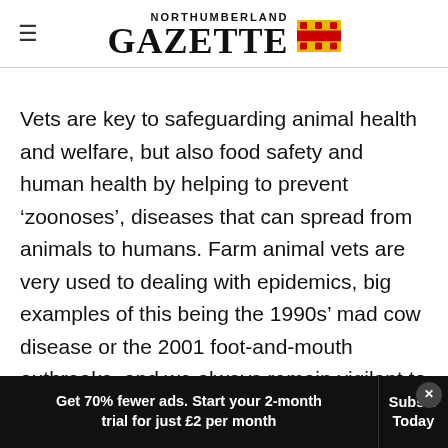NORTHUMBERLAND GAZETTE
Vets are key to safeguarding animal health and welfare, but also food safety and human health by helping to prevent ‘zoonoses’, diseases that can spread from animals to humans. Farm animal vets are very used to dealing with epidemics, big examples of this being the 1990s’ mad cow disease or the 2001 foot-and-mouth outbreaks, and we always remain vigilant to be able to react to any new threats. However, in addition to epidemics, there are several
Get 70% fewer ads. Start your 2-month trial for just £2 per month | Subscribe Today